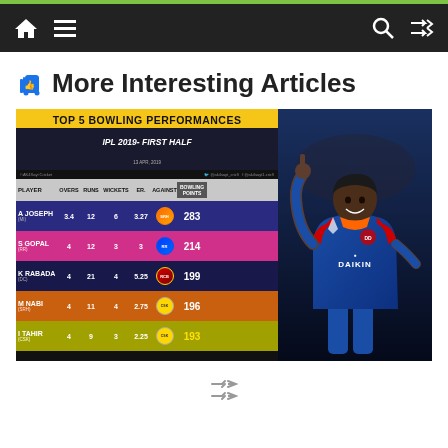Navigation bar with home, menu, search, and shuffle icons
👍 More Interesting Articles
[Figure (infographic): Top 5 Bowling Performances IPL 2019 First Half infographic showing a table with players A Joseph (283 pts), S Gopal (214 pts), K Rabada (199 pts), M Nabi (196 pts), I Tahir (193 pts), alongside a photo of a cricket player wearing a Daikin jersey.]
Shuffle icon at bottom